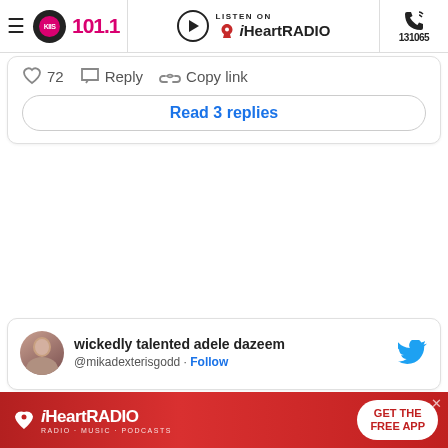[Figure (screenshot): KIIS 101.1 radio station website navigation bar with hamburger menu, KIIS 101.1 logo, Listen on iHeartRadio button, and phone number 131065]
72  Reply  Copy link
Read 3 replies
[Figure (screenshot): Twitter card for user 'wickedly talented adele dazeem' @mikadexterisgodd with Follow link and Twitter bird logo]
[Figure (screenshot): iHeartRADIO advertisement banner with GET THE FREE APP button]